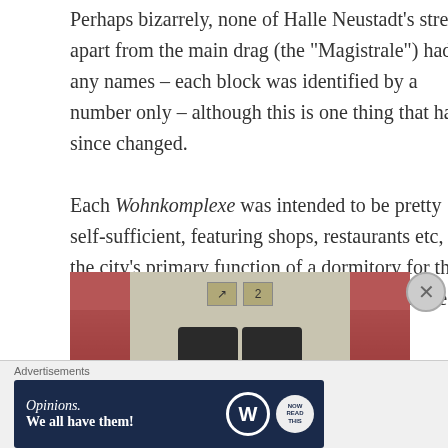Perhaps bizarrely, none of Halle Neustadt's streets apart from the main drag (the “Magistrale”) had any names – each block was identified by a number only – although this is one thing that has since changed. Each Wohnkomplexe was intended to be pretty self-sufficient, featuring shops, restaurants etc, but the city’s primary function of a dormitory for the chemical workers was very close to the surface.
[Figure (photo): Interior photo of what appears to be a building entrance or elevator lobby area, with reddish-brown walls on either side, a beige/neutral center panel, overhead lighting in the ceiling, and two number signs visible (one with a diagonal arrow/number, one with the number 2). The lower portion shows dark curved shapes suggesting doors or turnstiles.]
Advertisements
[Figure (other): WordPress advertisement banner with dark navy background. Text reads: Opinions. We all have them! with WordPress logo (W in circle) and a tag/Now icon on the right.]